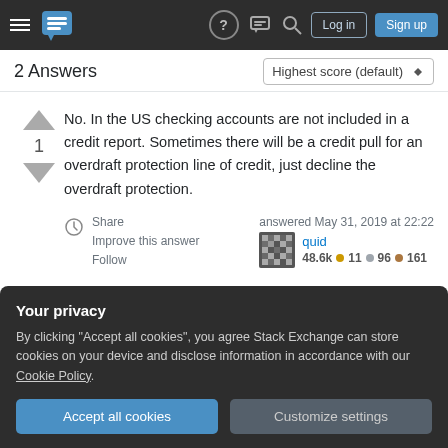Stack Exchange navigation bar with hamburger menu, logo, help, chat, search, Log in, Sign up
2 Answers
Highest score (default)
No. In the US checking accounts are not included in a credit report. Sometimes there will be a credit pull for an overdraft protection line of credit, just decline the overdraft protection.
Share
Improve this answer
Follow
answered May 31, 2019 at 22:22
quid
48.6k ● 11 ● 96 ● 161
Your privacy
By clicking "Accept all cookies", you agree Stack Exchange can store cookies on your device and disclose information in accordance with our Cookie Policy.
Accept all cookies
Customize settings
Just applying for a job, they will ask to run your credit. Credit reports are pulled for many reasons